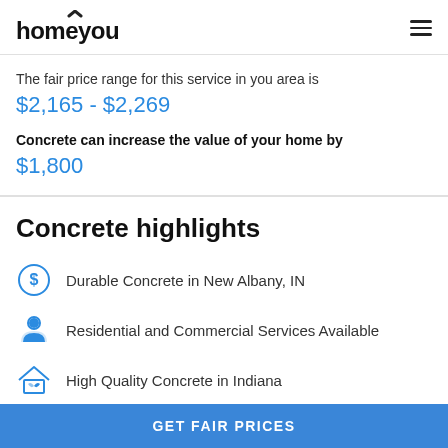homeyou
The fair price range for this service in you area is $2,165 - $2,269
Concrete can increase the value of your home by $1,800
Concrete highlights
Durable Concrete in New Albany, IN
Residential and Commercial Services Available
High Quality Concrete in Indiana
GET FAIR PRICES